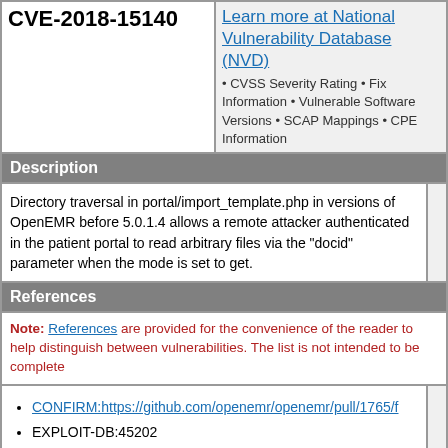CVE-2018-15140
Learn more at National Vulnerability Database (NVD) • CVSS Severity Rating • Fix Information • Vulnerable Software Versions • SCAP Mappings • CPE Information
Description
Directory traversal in portal/import_template.php in versions of OpenEMR before 5.0.1.4 allows a remote attacker authenticated in the patient portal to read arbitrary files via the "docid" parameter when the mode is set to get.
References
Note: References are provided for the convenience of the reader to help distinguish between vulnerabilities. The list is not intended to be complete
CONFIRM:https://github.com/openemr/openemr/pull/1765/f
EXPLOIT-DB:45202
URL:https://www.exploit-db.com/exploits/45202/
MISC:https://www.databreaches.net/openemr-patches-serious-vulnerabilities-uncovered-by-project-insecurity/
Assigning CNA
MITRE Corporation
Date Record Created